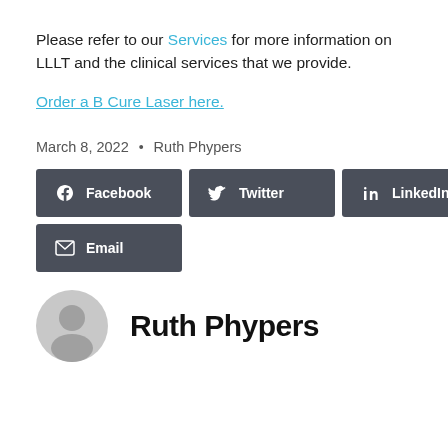Please refer to our Services for more information on LLLT and the clinical services that we provide.
Order a B Cure Laser here.
March 8, 2022  •  Ruth Phypers
[Figure (infographic): Social share buttons: Facebook, Twitter, LinkedIn, Email]
Ruth Phypers